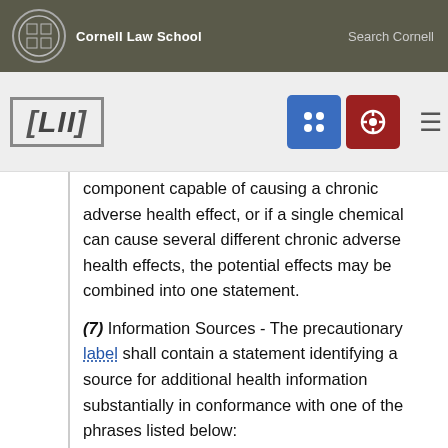Cornell Law School | Search Cornell
LII
component capable of causing a chronic adverse health effect, or if a single chemical can cause several different chronic adverse health effects, the potential effects may be combined into one statement.
(7) Information Sources - The precautionary label shall contain a statement identifying a source for additional health information substantially in conformance with one of the phrases listed below:
(i) For more health information - (24 hour cost-free U.S. telephone